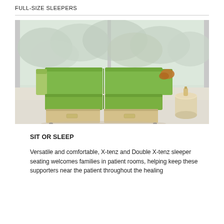FULL-SIZE SLEEPERS
[Figure (photo): A green upholstered two-seat sleeper sofa (X-tenz / Double X-tenz) with light wood base panels on a light floor, positioned in front of large windows with trees visible outside. A cylindrical side table is visible to the right.]
SIT OR SLEEP
Versatile and comfortable, X-tenz and Double X-tenz sleeper seating welcomes families in patient rooms, helping keep these supporters near the patient throughout the healing